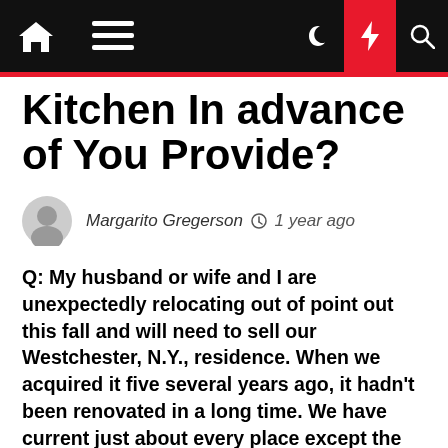Navigation bar with home, menu, dark mode, flash, and search icons
Kitchen In advance of You Provide?
Margarito Gregerson  1 year ago
Q: My husband or wife and I are unexpectedly relocating out of point out this fall and will need to sell our Westchester, N.Y., residence. When we acquired it five several years ago, it hadn't been renovated in a long time. We have current just about every place except the kitchen area, which has aged vinyl flooring, stained Formica countertops and out-of-date cabinets. What ought to we do? My spouse thinks if we don't renovate it, we'll reduce